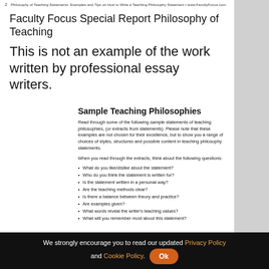2   Philosophy of Teaching Statements: Examples and Tips on How to Write a Teaching Philosophy Statement • www.FacultyFocus.com
Faculty Focus Special Report Philosophy of Teaching
This is not an example of the work written by professional essay writers.
Sample Teaching Philosophies
Read through some of the following sample statements of teaching philosophies, (or extracts from statements). Please note that these examples are not chosen for their excellence, but to show you a range of choices of styles, structures and possible content in teaching philosophy statements.
When you read through the extracts, think about the following questions:
What do you like/dislike about the statement?
Who do you think the statement is written for?
Is the statement written in a personal way?
Are the teaching methods clear?
Is there a balance between theory and practice?
Are examples given?
What words reveal the writer's teaching values?
What will you remember most about this statement?